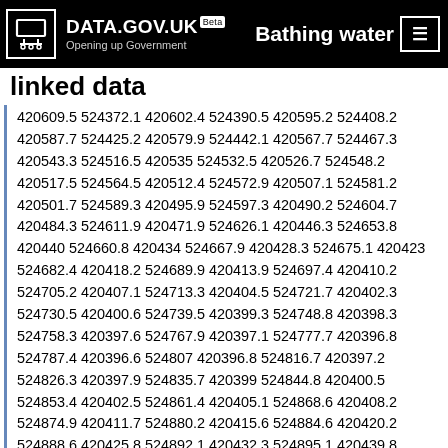DATA.GOV.UK Beta — Bathing water linked data
linked data
420609.5 524372.1 420602.4 524390.5 420595.2 524408.2 420587.7 524425.2 420579.9 524442.1 420567.7 524467.3 420543.3 524516.5 420535 524532.5 420526.7 524548.2 420517.5 524564.5 420512.4 524572.9 420507.1 524581.2 420501.7 524589.3 420495.9 524597.3 420490.2 524604.7 420484.3 524611.9 420471.9 524626.1 420446.3 524653.8 420440 524660.8 420434 524667.9 420428.3 524675.1 420423 524682.4 420418.2 524689.9 420413.9 524697.4 420410.2 524705.2 420407.1 524713.3 420404.5 524721.7 420402.3 524730.5 420400.6 524739.5 420399.3 524748.8 420398.3 524758.3 420397.6 524767.9 420397.1 524777.7 420396.8 524787.4 420396.6 524807 420396.8 524816.7 420397.2 524826.3 420397.9 524835.7 420399 524844.8 420400.5 524853.4 420402.5 524861.4 420405.1 524868.6 420408.2 524874.9 420411.7 524880.2 420415.6 524884.6 420420.2 524888.6 420425.8 524892.1 420432.3 524895.1 420439.8 524897.6 420448 524899.6 420456.9 524900.9 420466.2 524901.8 420475.8 524902.3 420495.6 524902.7 420515.6 524902.5 420575.4 524901.3 420605 524901 420732.3